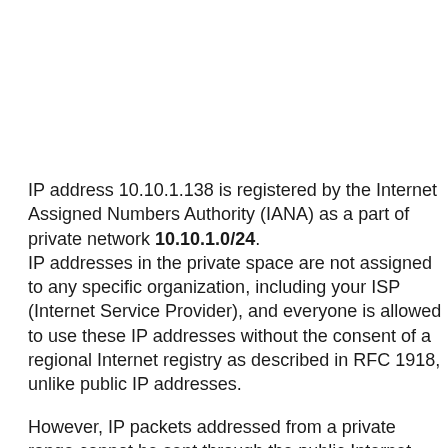IP address 10.10.1.138 is registered by the Internet Assigned Numbers Authority (IANA) as a part of private network 10.10.1.0/24. IP addresses in the private space are not assigned to any specific organization, including your ISP (Internet Service Provider), and everyone is allowed to use these IP addresses without the consent of a regional Internet registry as described in RFC 1918, unlike public IP addresses.
However, IP packets addressed from a private range cannot be sent through the public Internet, and so if such a private network needs to connect to the Internet, it has to be done through a network address translator (also called NAT) gateway, or a proxy server (usually reachable on port 8080 or 8081 if it doesn't work directly).
An example of a NAT gateway would be a wired or wireless